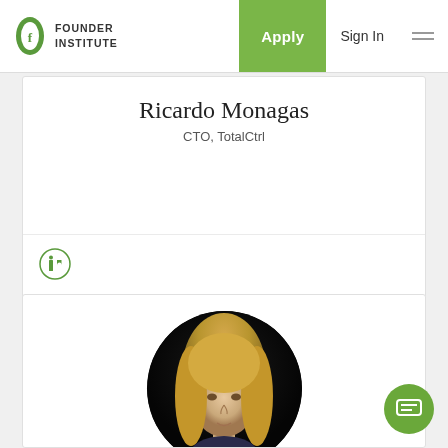Founder Institute — Apply | Sign In
Ricardo Monagas
CTO, TotalCtrl
[Figure (logo): LinkedIn icon in circle]
[Figure (photo): Circular profile photo of Rina Onur, a woman with long blonde hair]
Rina Onur
General Partner, 500 Istanbul